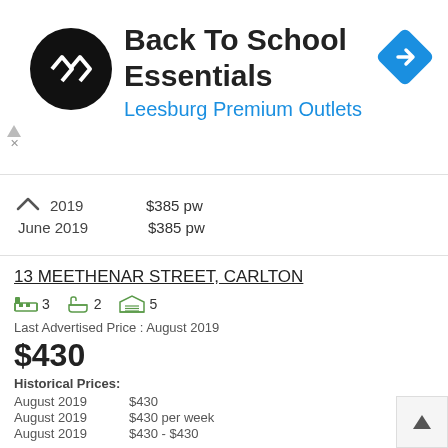[Figure (logo): Back To School Essentials ad banner with Leesburg Premium Outlets logo and navigation icon]
2019  $385 pw
June 2019  $385 pw
13 MEETHENAR STREET, CARLTON
3 bedrooms  2 bathrooms  5 garage
Last Advertised Price : August 2019
$430
Historical Prices:
August 2019   $430
August 2019   $430 per week
August 2019   $430 - $430
67 RIVIERA DRIVE, CARLTON
2 bedrooms  2 bathrooms  4 garage  2400 sqm  House
Last Advertised Price : August 2019